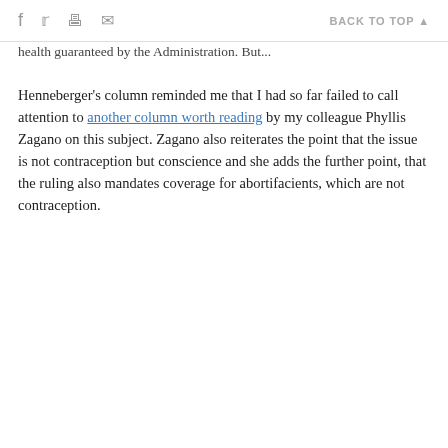f [facebook] [twitter] [print] [email]   BACK TO TOP ▲
health guaranteed by the Administration. But...
Henneberger's column reminded me that I had so far failed to call attention to another column worth reading by my colleague Phyllis Zagano on this subject. Zagano also reiterates the point that the issue is not contraception but conscience and she adds the further point, that the ruling also mandates coverage for abortifacients, which are not contraception.
Join the Conversation
Send your thoughts and reactions to Letters to the Editor. Learn more here